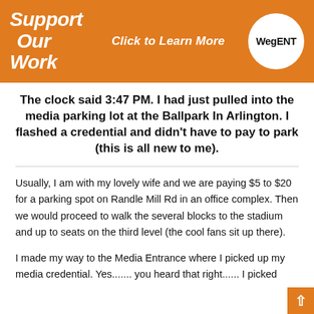[Figure (other): Orange banner advertisement with italic bold white text 'Support Our Work', centered italic white text 'Click to Learn More', and a white circle logo with black text 'WegENT']
The clock said 3:47 PM. I had just pulled into the media parking lot at the Ballpark In Arlington. I flashed a credential and didn't have to pay to park (this is all new to me).
Usually, I am with my lovely wife and we are paying $5 to $20 for a parking spot on Randle Mill Rd in an office complex. Then we would proceed to walk the several blocks to the stadium and up to seats on the third level (the cool fans sit up there).
I made my way to the Media Entrance where I picked up my media credential. Yes....... you heard that right...... I picked